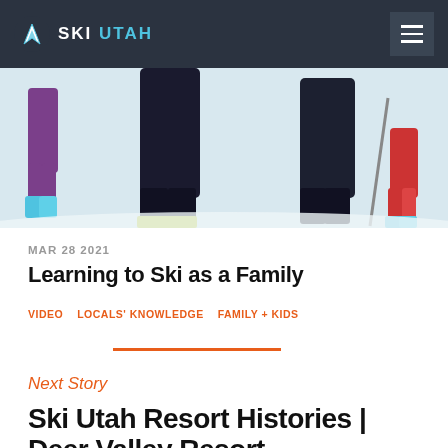SKI UTAH
[Figure (photo): Close-up photo of skiers' legs and boots in the snow. Shows children in colorful ski boots and adults in dark ski pants with poles.]
MAR 28 2021
Learning to Ski as a Family
VIDEO  LOCALS' KNOWLEDGE  FAMILY + KIDS
Next Story
Ski Utah Resort Histories | Deer Valley Resort